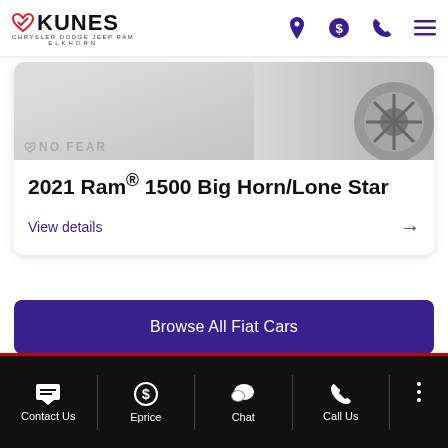Kunes Chrysler Dodge Jeep Ram Elkhorn
[Figure (screenshot): Partial view of a 2021 Ram 1500 vehicle with No Fear branding and tire visible]
2021 Ram® 1500 Big Horn/Lone Star
View details →
Browse All Fiat Cars
Contact Us | Eprice | Chat | Call Us | More